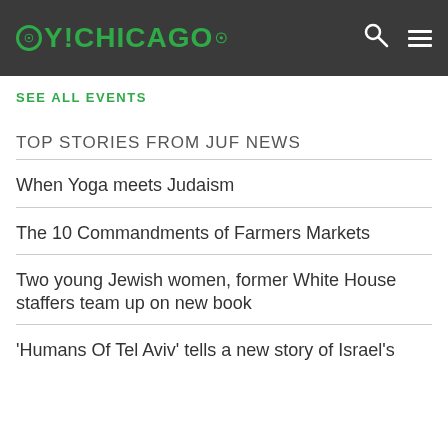OY!CHICAGO
SEE ALL EVENTS
TOP STORIES FROM JUF NEWS
When Yoga meets Judaism
The 10 Commandments of Farmers Markets
Two young Jewish women, former White House staffers team up on new book
'Humans Of Tel Aviv' tells a new story of Israel's